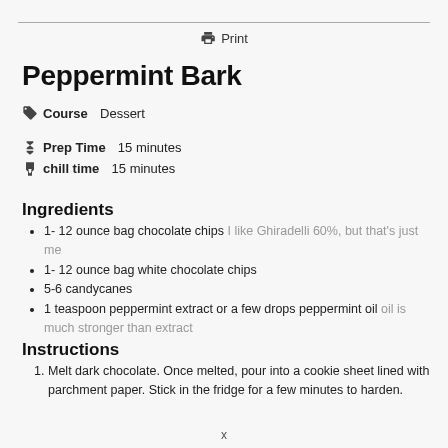Print
Peppermint Bark
Course  Dessert
Prep Time  15 minutes
chill time  15 minutes
Ingredients
1- 12 ounce bag chocolate chips I like Ghiradelli 60%, but that's just me
1- 12 ounce bag white chocolate chips
5-6 candycanes
1 teaspoon peppermint extract or a few drops peppermint oil oil is much stronger than extract
Instructions
Melt dark chocolate. Once melted, pour into a cookie sheet lined with parchment paper. Stick in the fridge for a few minutes to harden.
x